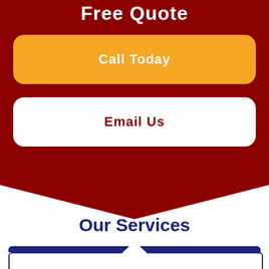Free Quote
Call Today
Email Us
Our Services